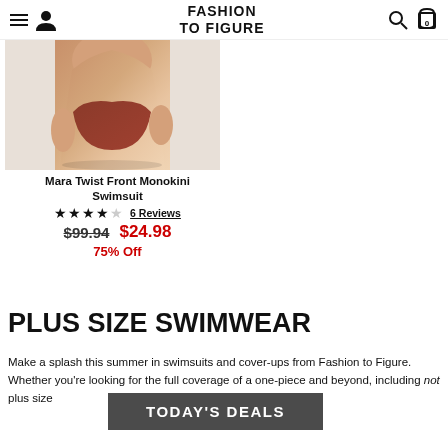FASHION TO FIGURE — navigation bar with hamburger, user icon, logo, search, and cart (0)
[Figure (photo): Product photo of model wearing a brown/terracotta monokini swimsuit, cropped at waist/hip area]
Mara Twist Front Monokini Swimsuit
★★★★☆ 4.5 stars — 6 Reviews
$99.94  $24.98
75% Off
PLUS SIZE SWIMWEAR
Make a splash this summer in swimsuits and cover-ups from Fashion to Figure. Whether you're looking for the full coverage of a one-piece and beyond, including not plus size
[Figure (other): TODAY'S DEALS overlay banner in dark grey semi-transparent background]